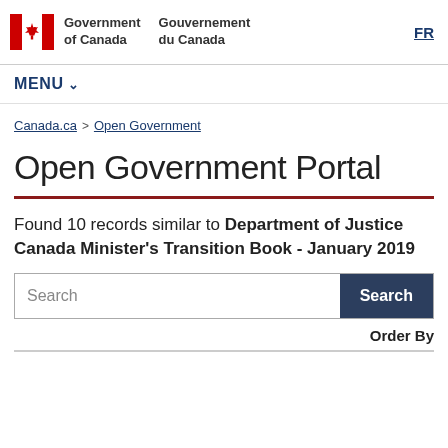[Figure (logo): Government of Canada / Gouvernement du Canada logo with Canadian flag maple leaf icon, and FR language toggle link]
MENU ▾
Canada.ca > Open Government
Open Government Portal
Found 10 records similar to Department of Justice Canada Minister's Transition Book - January 2019
Search [input] Search [button]
Order By